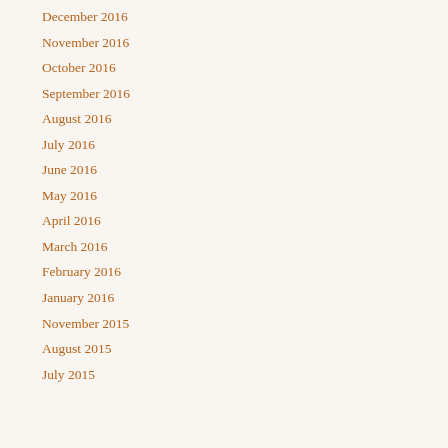December 2016
November 2016
October 2016
September 2016
August 2016
July 2016
June 2016
May 2016
April 2016
March 2016
February 2016
January 2016
November 2015
August 2015
July 2015